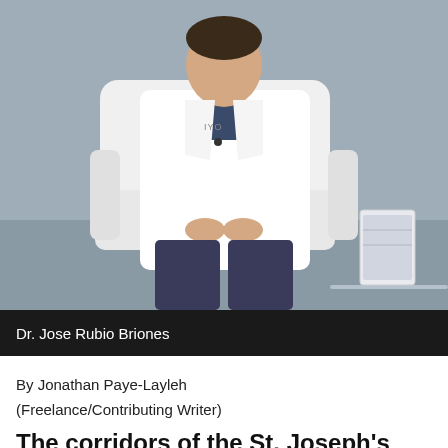[Figure (photo): A doctor in a white coat sitting in a white chair in what appears to be a clinical or interview setting. A book or pamphlet is visible on a glass table to the right. The background is gray.]
Dr. Jose Rubio Briones
By Jonathan Paye-Layleh
(Freelance/Contributing Writer)
The corridors of the St. Joseph’s Catholic Hospital in Monrovia have been busy this week as men with